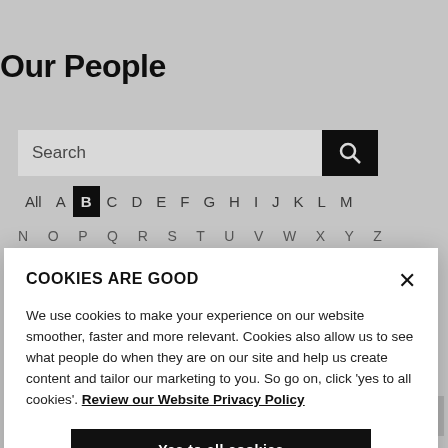Our People
Search
All A B C D E F G H I J K L M
COOKIES ARE GOOD
We use cookies to make your experience on our website smoother, faster and more relevant. Cookies also allow us to see what people do when they are on our site and help us create content and tailor our marketing to you. So go on, click 'yes to all cookies'. Review our Website Privacy Policy
Yes to all cookies